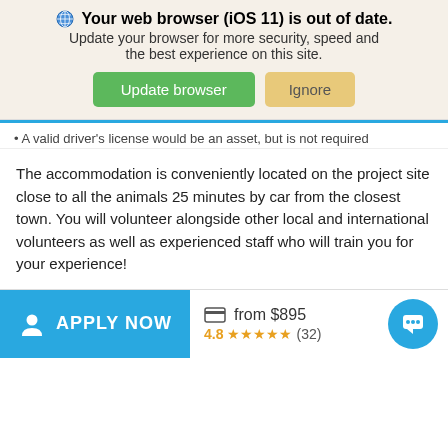[Figure (screenshot): Browser update notification banner with globe icon, bold title 'Your web browser (iOS 11) is out of date.' subtitle text, green 'Update browser' button and tan 'Ignore' button on beige background]
A valid driver's license would be an asset, but is not required
The accommodation is conveniently located on the project site close to all the animals 25 minutes by car from the closest town. You will volunteer alongside other local and international volunteers as well as experienced staff who will train you for your experience!
Wolf Conservation
Otter Conservation
#Hotspots
Grey Wolf
North American River Otter
APPLY NOW  from $895  4.8 ★★★★★ (32)